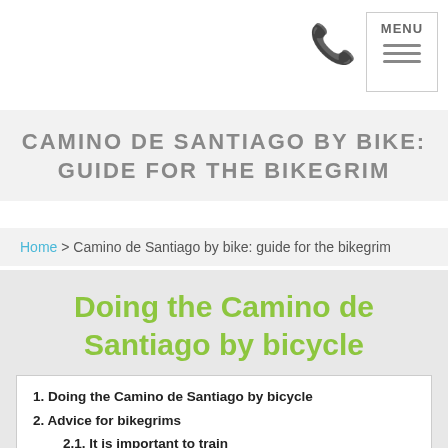MENU
CAMINO DE SANTIAGO BY BIKE: GUIDE FOR THE BIKEGRIM
Home > Camino de Santiago by bike: guide for the bikegrim
Doing the Camino de Santiago by bicycle
1. Doing the Camino de Santiago by bicycle
2. Advice for bikegrims
2.1. It is important to train
2.2. Use a BTT to do the Camino de Santiago
2.3. Choose a time that's not very rainy
2.4. Find another bikegrim
2.5. Don't trust yourself, plan your kit well